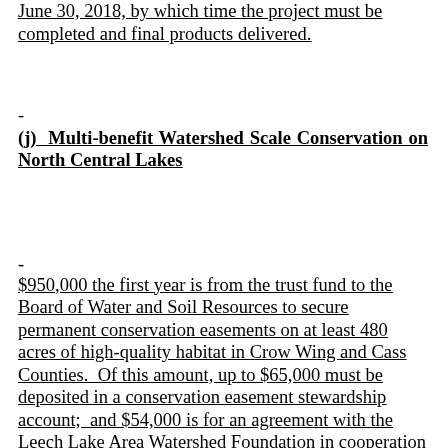June 30, 2018, by which time the project must be completed and final products delivered.
(j)  Multi-benefit Watershed Scale Conservation on North Central Lakes
$950,000 the first year is from the trust fund to the Board of Water and Soil Resources to secure permanent conservation easements on at least 480 acres of high-quality habitat in Crow Wing and Cass Counties.  Of this amount, up to $65,000 must be deposited in a conservation easement stewardship account;  and $54,000 is for an agreement with the Leech Lake Area Watershed Foundation in cooperation with Crow Wing County Soil and Water Conservation District and Cass County Soil and Water Conservation District. Deposits into the conservation easement stewardship account must be made upon closing on conservation easements or at a time otherwise prescribed in the